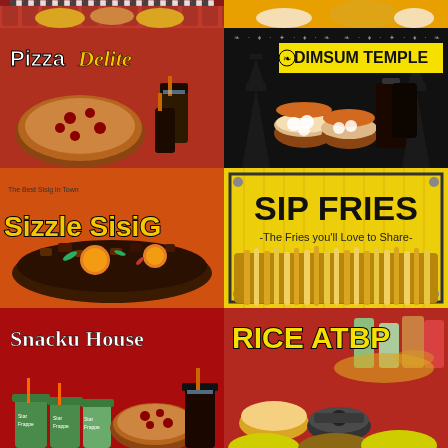[Figure (photo): Top strip: two restaurant banner partials - left red background with Chinese/Asian design, right yellow/orange background with food]
[Figure (photo): Pizza Delite banner - red background with pizza and drinks, yellow italic logo text]
[Figure (photo): Dimsum Temple banner - black background with pagoda silhouettes, dimsum baskets and drinks]
[Figure (photo): Sizzle Sisig banner - orange background, sizzling sisig dish, yellow/black stylized logo, tagline 'The Best Sisig in Town']
[Figure (photo): Sip Fries banner - yellow background with fries image, black text 'SIP FRIES - The Fries you'll Love to Share-']
[Figure (photo): Snacku House banner - red background with drinks shakes, pizza, cola, white serif text logo]
[Figure (photo): Rice ATBP banner - dark red background with various rice dishes, yellow bold text]
[Figure (photo): Bottom partial strip - two restaurant banners partially visible, red/yellow color scheme]